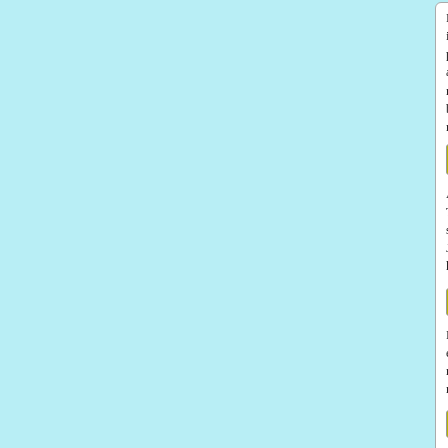Manny Acta is expected to be named the manager of th... is 37 years old and has experience coaching for the Met... players. He comes from the Dominican Republic and m... a hard time learning English when he first came to the U... much effort into learning English, which is too bad. Act... batting fell short of expectations, he earned a reputation... right for the job. See MLB.com.
Sheffield is traded to Detroit
After all the rumors about his discontent in The Bronx, ... Tigers could certainly use a veteran player, and the Yan... shedding any tears over leaving New York, and the feel... Jim Leyland who managed the Florida Marlins in 1997.... his career in Detroit, since he is 38 years old. See MLB...
Fremont A's ballpark
Barry Witt has further details on the possible future hom... emphasis is on making it a technological wonder, with b... rapid transit access, which would be essential for drawi... municipal leaders to work out a mutually-advantageous...
The mail bag
Chris Kassulke reminded me that the renovations at Sol...
November 30, 2006 [LINK / comment]
Correa wins big in Ecuador